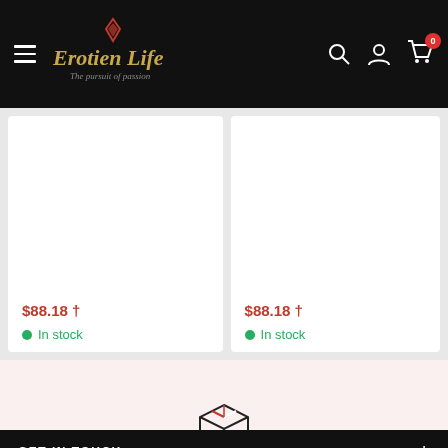Erotien Life — The pursuit of passion — navigation bar with hamburger menu, logo, search, account, cart (0)
$88.18 †
In stock
$88.18 †
In stock
[Figure (illustration): Box/package delivery icon — outlined cube with red/white diagonal stripes on top face]
Free delivery
Free Shipping For Orders Over $99 (Australia)
GET IN TOUCH +